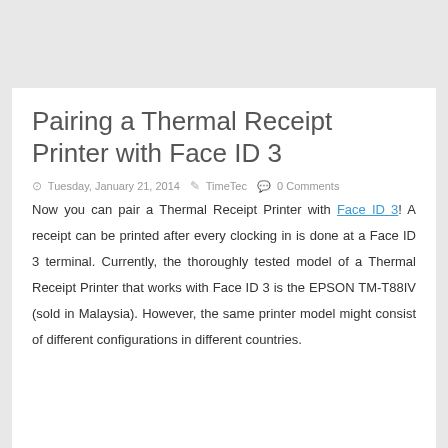Pairing a Thermal Receipt Printer with Face ID 3
Tuesday, January 21, 2014  TimeTec  0 Comments
Now you can pair a Thermal Receipt Printer with Face ID 3! A receipt can be printed after every clocking in is done at a Face ID 3 terminal. Currently, the thoroughly tested model of a Thermal Receipt Printer that works with Face ID 3 is the EPSON TM-T88IV (sold in Malaysia). However, the same printer model might consist of different configurations in different countries.